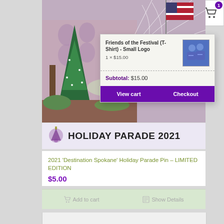[Figure (screenshot): E-commerce product page screenshot showing a shopping cart popup overlay on top of a product listing. The popup shows 'Friends of the Festival (T-Shirt) - Small Logo, 1 x $15.00' with a subtotal of $15.00 and View cart / Checkout buttons in purple. Below is a product card for '2021 Destination Spokane Holiday Parade Pin – LIMITED EDITION' priced at $5.00 with Add to cart and Show Details buttons. A holiday parade banner image with 'HOLIDAY PARADE 2021' text is visible. A cart icon with badge '1' appears in the top right.]